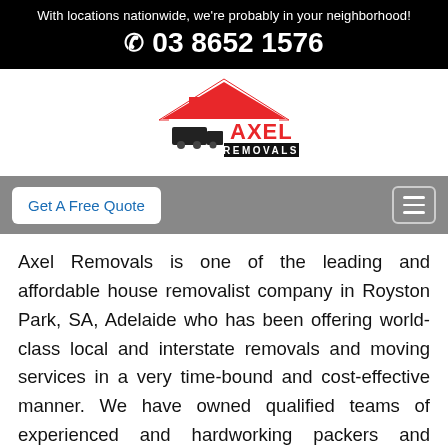With locations nationwide, we're probably in your neighborhood!
☎ 03 8652 1576
[Figure (logo): Axel Removals logo with red roof/house icon and truck silhouette, red and black text reading AXEL REMOVALS]
Get A Free Quote
Axel Removals is one of the leading and affordable house removalist company in Royston Park, SA, Adelaide who has been offering world-class local and interstate removals and moving services in a very time-bound and cost-effective manner. We have owned qualified teams of experienced and hardworking packers and movers who are always ready to take orders and implement the best strategies and resources to accomplish any